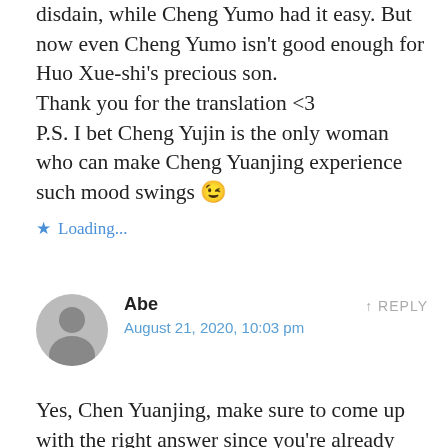disdain, while Cheng Yumo had it easy. But now even Cheng Yumo isn't good enough for Huo Xue-shi's precious son.
Thank you for the translation <3
P.S. I bet Cheng Yujin is the only woman who can make Cheng Yuanjing experience such mood swings 😉
⭐ Loading...
Abe
August 21, 2020, 10:03 pm
REPLY
Yes, Chen Yuanjing, make sure to come up with the right answer since you're already asking yourself the right question 🙂😸.